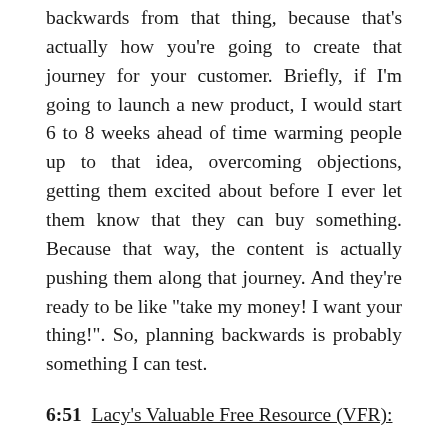backwards from that thing, because that's actually how you're going to create that journey for your customer. Briefly, if I'm going to launch a new product, I would start 6 to 8 weeks ahead of time warming people up to that idea, overcoming objections, getting them excited about before I ever let them know that they can buy something. Because that way, the content is actually pushing them along that journey. And they're ready to be like "take my money! I want your thing!". So, planning backwards is probably something I can test.
6:51  Lacy's Valuable Free Resource (VFR): What I put together for you guys is a content